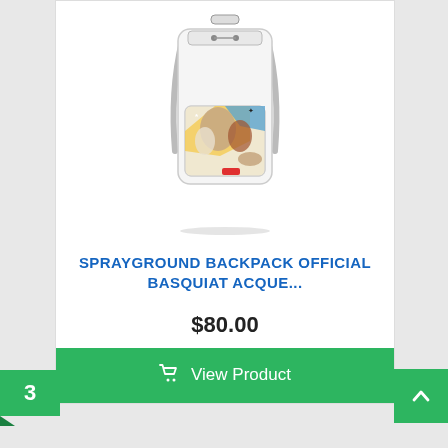[Figure (photo): White Sprayground backpack with colorful Basquiat artwork printed on the front pocket, shown on a white background]
SPRAYGROUND BACKPACK OFFICIAL BASQUIAT ACQUE...
$80.00
View Product
3